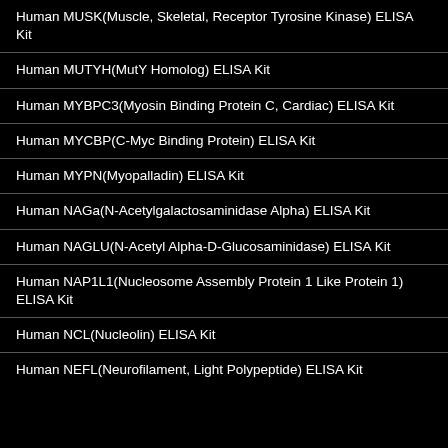Human MUSK(Muscle, Skeletal, Receptor Tyrosine Kinase) ELISA Kit
Human MUTYH(MutY Homolog) ELISA Kit
Human MYBPC3(Myosin Binding Protein C, Cardiac) ELISA Kit
Human MYCBP(C-Myc Binding Protein) ELISA Kit
Human MYPN(Myopalladin) ELISA Kit
Human NAGa(N-Acetylgalactosaminidase Alpha) ELISA Kit
Human NAGLU(N-Acetyl Alpha-D-Glucosaminidase) ELISA Kit
Human NAP1L1(Nucleosome Assembly Protein 1 Like Protein 1) ELISA Kit
Human NCL(Nucleolin) ELISA Kit
Human NEFL(Neurofilament, Light Polypeptide) ELISA Kit